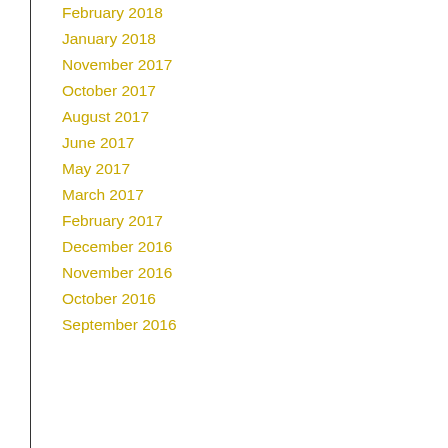February 2018
January 2018
November 2017
October 2017
August 2017
June 2017
May 2017
March 2017
February 2017
December 2016
November 2016
October 2016
September 2016